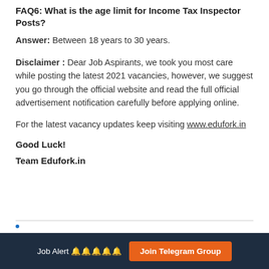FAQ6: What is the age limit for Income Tax Inspector Posts?
Answer: Between 18 years to 30 years.
Disclaimer : Dear Job Aspirants, we took you most care while posting the latest 2021 vacancies, however, we suggest you go through the official website and read the full official advertisement notification carefully before applying online.
For the latest vacancy updates keep visiting www.edufork.in
Good Luck!
Team Edufork.in
Job Alert 🔔🔔🔔🔔🔔   Join Telegram Group